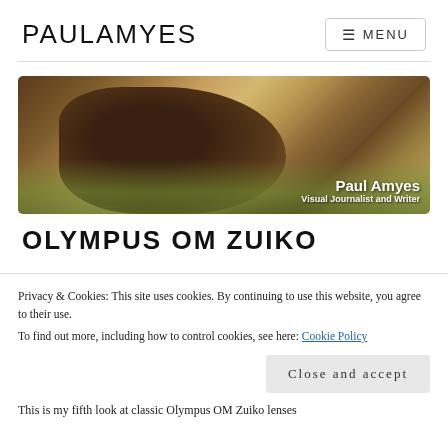PAULAMYES
[Figure (photo): A kangaroo resting on grass, with text overlay reading 'Paul Amyes - Visual Journalist and Writer']
OLYMPUS OM ZUIKO
Privacy & Cookies: This site uses cookies. By continuing to use this website, you agree to their use.
To find out more, including how to control cookies, see here: Cookie Policy
Close and accept
This is my fifth look at classic Olympus OM Zuiko lenses